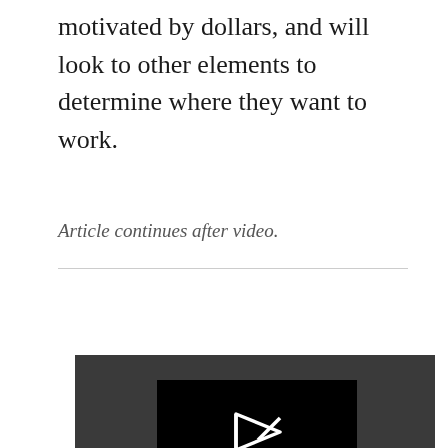motivated by dollars, and will look to other elements to determine where they want to work.
Article continues after video.
FEATURED VIDEO
An Inc.com Featured Presentation
[Figure (screenshot): Video player showing error message: The video cannot be played in this browser. (Error Code: 242632)]